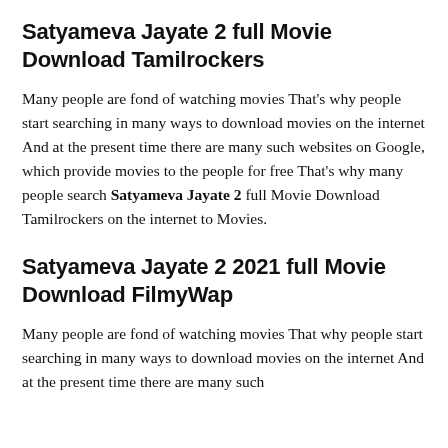Satyameva Jayate 2 full Movie Download Tamilrockers
Many people are fond of watching movies That's why people start searching in many ways to download movies on the internet And at the present time there are many such websites on Google, which provide movies to the people for free That's why many people search Satyameva Jayate 2 full Movie Download Tamilrockers on the internet to Movies.
Satyameva Jayate 2 2021 full Movie Download FilmyWap
Many people are fond of watching movies That why people start searching in many ways to download movies on the internet And at the present time there are many such